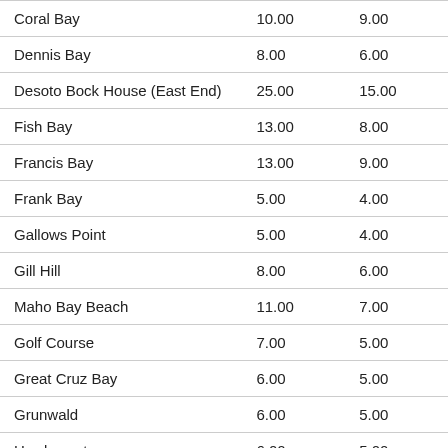| Coral Bay | 10.00 | 9.00 |
| Dennis Bay | 8.00 | 6.00 |
| Desoto Bock House (East End) | 25.00 | 15.00 |
| Fish Bay | 13.00 | 8.00 |
| Francis Bay | 13.00 | 9.00 |
| Frank Bay | 5.00 | 4.00 |
| Gallows Point | 5.00 | 4.00 |
| Gill Hill | 8.00 | 6.00 |
| Maho Bay Beach | 11.00 | 7.00 |
| Golf Course | 7.00 | 5.00 |
| Great Cruz Bay | 6.00 | 5.00 |
| Grunwald | 6.00 | 5.00 |
| Hawksnest | 6.00 | 5.00 |